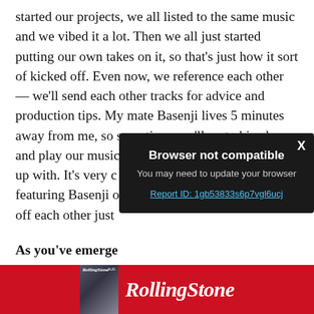started our projects, we all listed to the same music and we vibed it a lot. Then we all just started putting our own takes on it, so that's just how it sort of kicked off. Even now, we reference each other — we'll send each other tracks for advice and production tips. My mate Basenji lives 5 minutes away from me, so sometimes we'll go to his place and play our music – open up on his laptop to have [text obscured by modal] up with. It's very c[text obscured] featuring Basenji o[text obscured] off each other just[text obscured]
[Figure (screenshot): Browser not compatible modal dialog with dark background. Title: 'Browser not compatible'. Subtitle: 'You may need to update your browser'. Link: 'Report ID: 1gb53833s6p7vgl6ucj'. Close button 'X' in top right corner.]
As you've emerge[text obscured] ties with other a[text obscured]
[Figure (logo): Rolling Stone magazine advertisement banner. Red background with white Rolling Stone italic logo text. Left side shows a small magazine cover image.]